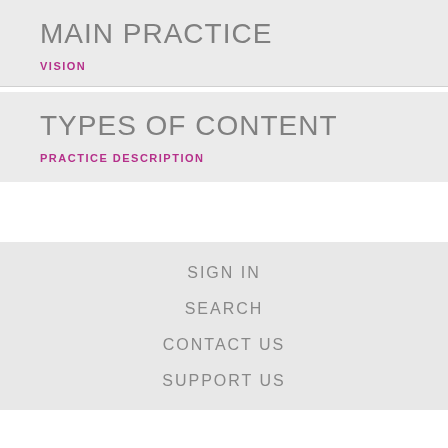MAIN PRACTICE
VISION
TYPES OF CONTENT
PRACTICE DESCRIPTION
SIGN IN
SEARCH
CONTACT US
SUPPORT US